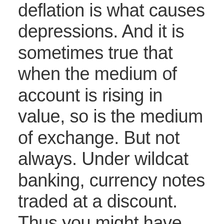deflation is what causes depressions. And it is sometimes true that when the medium of account is rising in value, so is the medium of exchange. But not always. Under wildcat banking, currency notes traded at a discount. Thus you might have had a period in American history where the medium of account (gold) gained value, say because of more industrial use of gold. But there might not have been any shortage of currency. Suppose during this period the banks kept churning out increasing numbers of banknotes, each